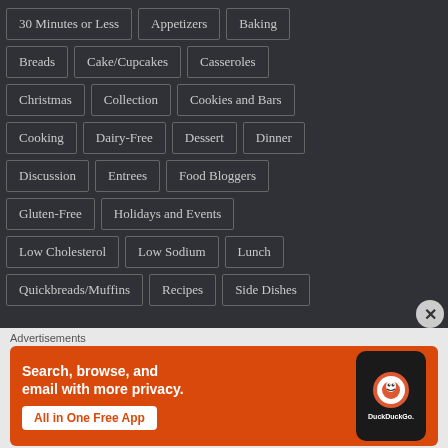30 Minutes or Less
Appetizers
Baking
Breads
Cake/Cupcakes
Casseroles
Christmas
Collection
Cookies and Bars
Cooking
Dairy-Free
Dessert
Dinner
Discussion
Entrees
Food Bloggers
Gluten-Free
Holidays and Events
Low Cholesterol
Low Sodium
Lunch
Quickbreads/Muffins
Recipes
Side Dishes
Advertisements
[Figure (screenshot): DuckDuckGo advertisement banner: Search, browse, and email with more privacy. All in One Free App. Shows a phone with DuckDuckGo logo.]